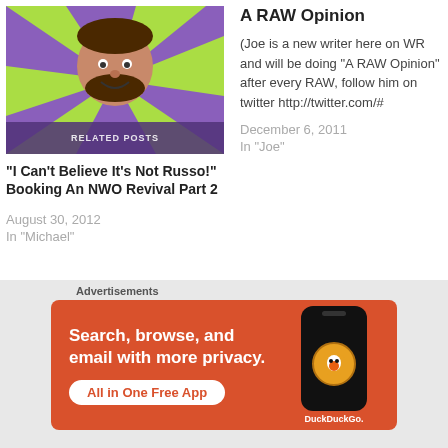[Figure (photo): Thumbnail image with colorful green and purple rays background and a person's face]
"I Can't Believe It's Not Russo!" Booking An NWO Revival Part 2
August 30, 2012
In "Michael"
A RAW Opinion
(Joe is a new writer here on WR and will be doing "A RAW Opinion" after every RAW, follow him on twitter http://twitter.com/#
December 6, 2011
In "Joe"
[Figure (photo): WWE SmackDown promotional image with wrestler Sheamus raising arms]
Advertisements
[Figure (infographic): DuckDuckGo advertisement banner: Search, browse, and email with more privacy. All in One Free App. Shows smartphone with DuckDuckGo logo.]